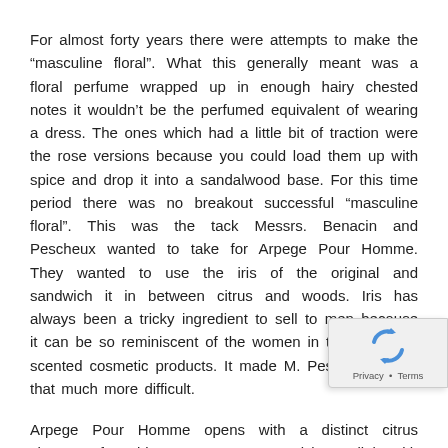For almost forty years there were attempts to make the “masculine floral”. What this generally meant was a floral perfume wrapped up in enough hairy chested notes it wouldn’t be the perfumed equivalent of wearing a dress. The ones which had a little bit of traction were the rose versions because you could load them up with spice and drop it into a sandalwood base. For this time period there was no breakout successful “masculine floral”. This was the tack Messrs. Benacin and Pescheux wanted to take for Arpege Pour Homme. They wanted to use the iris of the original and sandwich it in between citrus and woods. Iris has always been a tricky ingredient to sell to men because it can be so reminiscent of the women in their lives iris scented cosmetic products. It made M. Pescheux’s task that much more difficult.
Arpege Pour Homme opens with a distinct citrus character from bitter orange sweetened just a little with mandarin and pink pepper. M. Pescheux sets the stage for the iris by using a bit of neroli to provide the transition. The iris comes next and it is reminiscent of those powders. M. Pescheux does his best to keep that quality under control with nutmeg and mate providing a sharper edge. It is successful. The powderiness doesn’t really become modulated until the sandalwood and patchouli of the base get a chance to assert their presence.